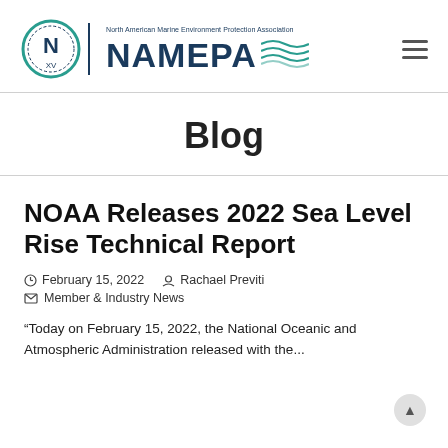[Figure (logo): NAMEPA logo — North American Marine Environment Protection Association — circle with N and XV, teal/navy color scheme, with stylized wave graphic]
Blog
NOAA Releases 2022 Sea Level Rise Technical Report
February 15, 2022   Rachael Previti   Member & Industry News
“Today on February 15, 2022, the National Oceanic and Atmospheric Administration released with the...